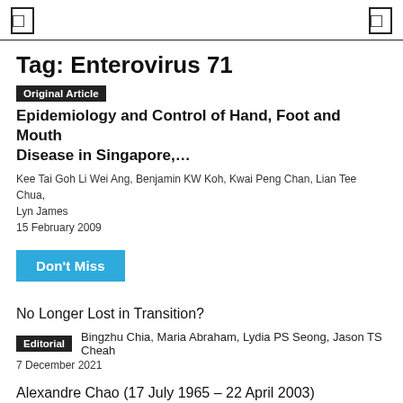Tag: Enterovirus 71
Original Article
Epidemiology and Control of Hand, Foot and Mouth Disease in Singapore,...
Kee Tai Goh Li Wei Ang, Benjamin KW Koh, Kwai Peng Chan, Lian Tee Chua, Lyn James
15 February 2009
Don't Miss
No Longer Lost in Transition?
Editorial  Bingzhu Chia, Maria Abraham, Lydia PS Seong, Jason TS Cheah
7 December 2021
Alexandre Chao (17 July 1965 – 22 April 2003)